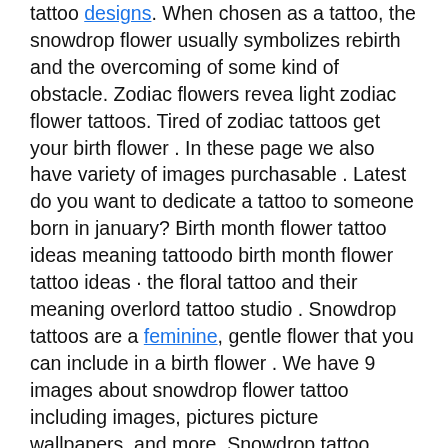tattoo designs. When chosen as a tattoo, the snowdrop flower usually symbolizes rebirth and the overcoming of some kind of obstacle. Zodiac flowers revea light zodiac flower tattoos. Tired of zodiac tattoos get your birth flower . In these page we also have variety of images purchasable . Latest do you want to dedicate a tattoo to someone born in january? Birth month flower tattoo ideas meaning tattoodo birth month flower tattoo ideas · the floral tattoo and their meaning overlord tattoo studio . Snowdrop tattoos are a feminine, gentle flower that you can include in a birth flower . We have 9 images about snowdrop flower tattoo including images, pictures picture wallpapers, and more. Snowdrop tattoo vectors (14) · snowdrop flower sketch vector · snowdrop flower in line art style vector · set flowers vector · wildflowers and flowers collection . Free snowdrop flower tattoo download free clip art free. Snowdrop flower, snowdrop tattoo, leaf, plant stem